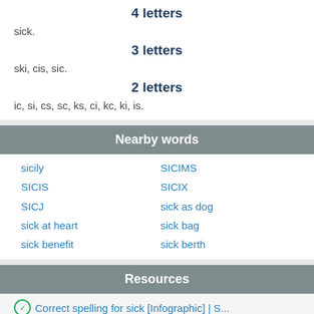4 letters
sick.
3 letters
ski, cis, sic.
2 letters
ic, si, cs, sc, ks, ci, kc, ki, is.
Nearby words
sicily
SICIS
SICJ
sick at heart
sick benefit
SICIMS
SICIX
sick as dog
sick bag
sick berth
Resources
Correct spelling for sick [Infographic] | S...
sick - English spelling dictionary